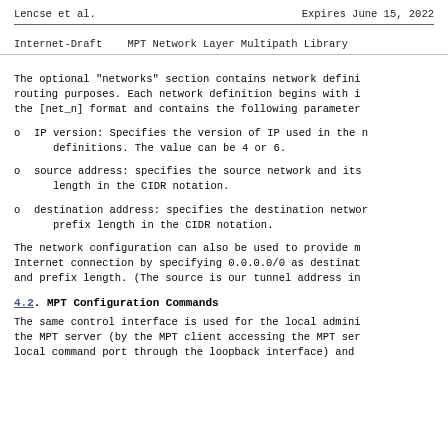Lencse et al.    Expires June 15, 2022
Internet-Draft    MPT Network Layer Multipath Library
The optional "networks" section contains network definitions used for routing purposes. Each network definition begins with its section name in the [net_n] format and contains the following parameters:
o IP version: Specifies the version of IP used in the network definitions. The value can be 4 or 6.
o source address: specifies the source network and its prefix length in the CIDR notation.
o destination address: specifies the destination network and its prefix length in the CIDR notation.
The network configuration can also be used to provide multihomed Internet connection by specifying 0.0.0.0/0 as destination network and prefix length. (The source is our tunnel address in
4.2. MPT Configuration Commands
The same control interface is used for the local administration of the MPT server (by the MPT client accessing the MPT server's local command port through the loopback interface) and